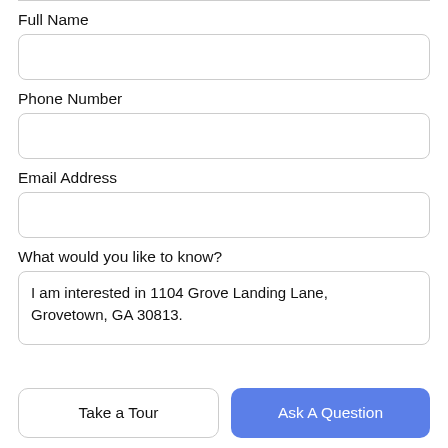Full Name
[Figure (other): Empty text input field for Full Name]
Phone Number
[Figure (other): Empty text input field for Phone Number]
Email Address
[Figure (other): Empty text input field for Email Address]
What would you like to know?
[Figure (other): Textarea pre-filled with: I am interested in 1104 Grove Landing Lane, Grovetown, GA 30813.]
Take a Tour
Ask A Question